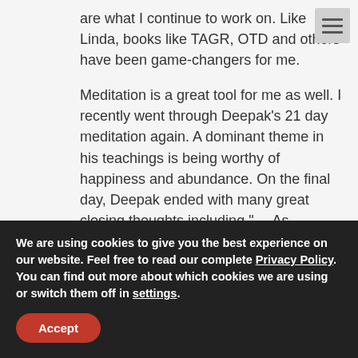are what I continue to work on. Like Linda, books like TAGR, OTD and others have been game-changers for me.
Meditation is a great tool for me as well. I recently went through Deepak’s 21 day meditation again. A dominant theme in his teachings is being worthy of happiness and abundance. On the final day, Deepak ended with many great closing thoughts including “….As
We are using cookies to give you the best experience on our website. Feel free to read our complete Privacy Policy. You can find out more about which cookies we are using or switch them off in settings.